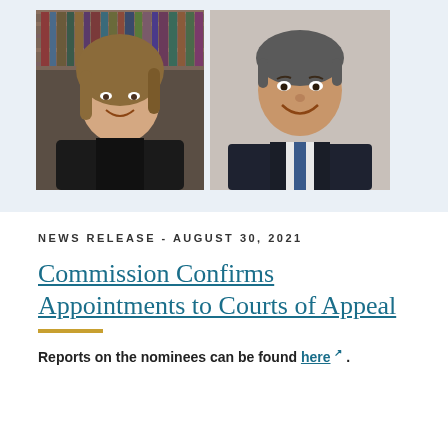[Figure (photo): Two professional headshot photos side by side on a light blue-grey background. Left: a woman with shoulder-length brown hair wearing a black judicial robe, with law books visible behind her. Right: a man in a dark pinstripe suit with a blue tie, smiling.]
NEWS RELEASE - AUGUST 30, 2021
Commission Confirms Appointments to Courts of Appeal
Reports on the nominees can be found here .